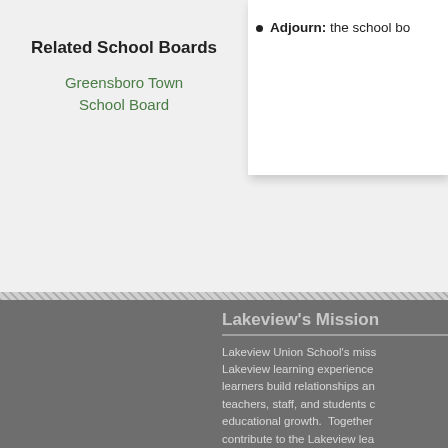Adjourn: the school bo
Related School Boards
Greensboro Town School Board
Lakeview's Mission
Lakeview Union School's miss... Lakeview learning experience... learners build relationships an... teachers, staff, and students c... educational growth. Together... contribute to the Lakeview lea... learning.